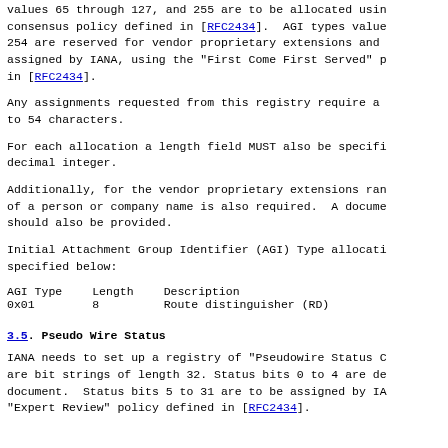values 65 through 127, and 255 are to be allocated using consensus policy defined in [RFC2434].  AGI types values 128 to 254 are reserved for vendor proprietary extensions and are to be assigned by IANA, using the "First Come First Served" policy defined in [RFC2434].
Any assignments requested from this registry require a description of up to 54 characters.
For each allocation a length field MUST also be specified, as a decimal integer.
Additionally, for the vendor proprietary extensions range, the name of a person or company name is also required.  A document URL should also be provided.
Initial Attachment Group Identifier (AGI) Type allocations are specified below:
| AGI Type | Length | Description |
| --- | --- | --- |
| 0x01 | 8 | Route distinguisher (RD) |
3.5. Pseudo Wire Status
IANA needs to set up a registry of "Pseudowire Status Codes". These are bit strings of length 32. Status bits 0 to 4 are defined in this document.  Status bits 5 to 31 are to be assigned by IANA using the "Expert Review" policy defined in [RFC2434].